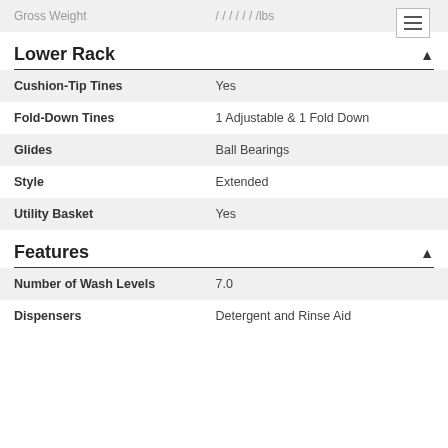|  |  |
| --- | --- |
| Gross Weight | / / / / / / /lbs |
Lower Rack
| Feature | Value |
| --- | --- |
| Cushion-Tip Tines | Yes |
| Fold-Down Tines | 1 Adjustable & 1 Fold Down |
| Glides | Ball Bearings |
| Style | Extended |
| Utility Basket | Yes |
Features
| Feature | Value |
| --- | --- |
| Number of Wash Levels | 7.0 |
| Dispensers | Detergent and Rinse Aid |